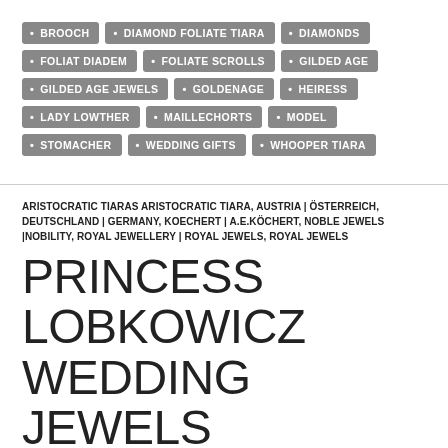BROOCH, DIAMOND FOLIATE TIARA, DIAMONDS, FOLIAT DIADEM, FOLIATE SCROLLS, GILDED AGE, GILDED AGE JEWELS, GOLDENAGE, HEIRESS, LADY LOWTHER, MAILLECHORTS, MODEL, STOMACHER, WEDDING GIFTS, WHOOPER TIARA
ARISTOCRATIC TIARAS ARISTOCRATIC TIARA, AUSTRIA | ÖSTERREICH, DEUTSCHLAND | GERMANY, KOECHERT | A.E.KÖCHERT, NOBLE JEWELS |NOBILITY, ROYAL JEWELLERY | ROYAL JEWELS, ROYAL JEWELS
PRINCESS LOBKOWICZ WEDDING JEWELS KÖCHERT TIARA 1825 | COUNTESS ELTZ| PRINCESS